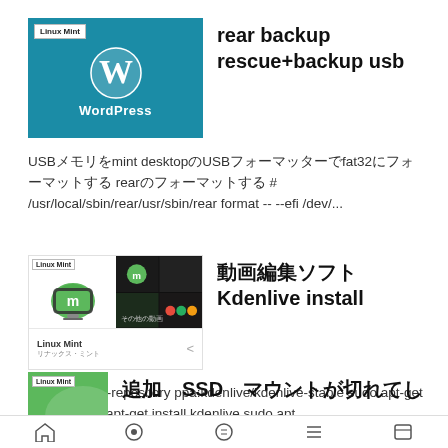[Figure (screenshot): WordPress thumbnail with Linux Mint badge, teal background with WordPress W logo and 'WordPress' text]
rear backup rescue+backup usb
USBメモリをmint desktopのUSBフォーマッターでfat32にフォーマットする rearのフォーマットする # /usr/local/sbin/rear/usr/sbin/rear format -- --efi /dev/...
[Figure (screenshot): Linux Mint YouTube card thumbnail showing Linux Mint logo and video grid with 'Linux Mint' channel name]
動画編集ソフト　Kdenlive install
sudo add-apt-repository ppa:kdenlive/kdenlive-stable sudo apt-get update sudo apt-get install kdenlive sudo apt...
[Figure (screenshot): Partial Linux Mint thumbnail (green background) at bottom]
追加　SSD　マウントが切れてし